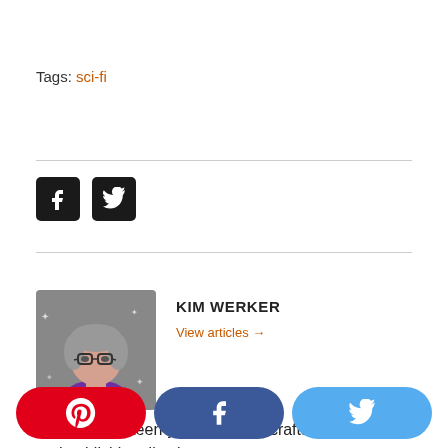Tags: sci-fi
[Figure (illustration): Social media share icons: Facebook and Twitter, black rounded square icons]
[Figure (photo): Author avatar: illustrated portrait of Kim Werker, a woman with short grey hair, glasses, and a purple scarf]
KIM WERKER
View articles →
Over my eighteen-year career in crafts and publishing, I've been or a... (truncated)
[Figure (infographic): Social share bar at bottom: Pinterest (red), Facebook (dark blue), Twitter (light blue) rounded pill buttons]